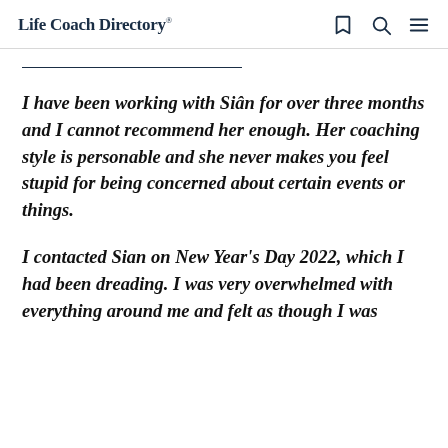Life Coach Directory®
I have been working with Siân for over three months and I cannot recommend her enough. Her coaching style is personable and she never makes you feel stupid for being concerned about certain events or things.
I contacted Sian on New Year's Day 2022, which I had been dreading. I was very overwhelmed with everything around me and felt as though I was